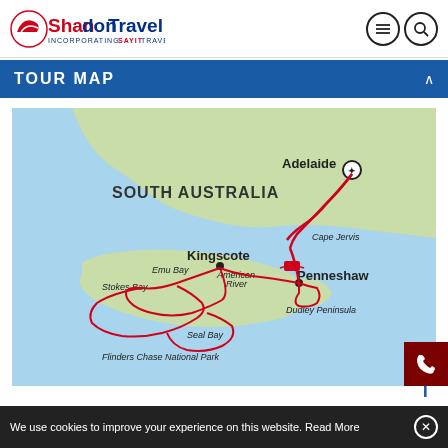Shandon Travel — Incorporating Sayit Travel
TOUR MAP
[Figure (map): Tour map of South Australia showing Kangaroo Island route from Adelaide via Cape Jervis (ferry) to Penneshaw, with red route lines visiting Kingscote, Emu Bay, American River, Stokes Bay, Seal Bay, Dudley Peninsula, and Flinders Chase National Park.]
We use cookies to improve your experience on this website. Read More